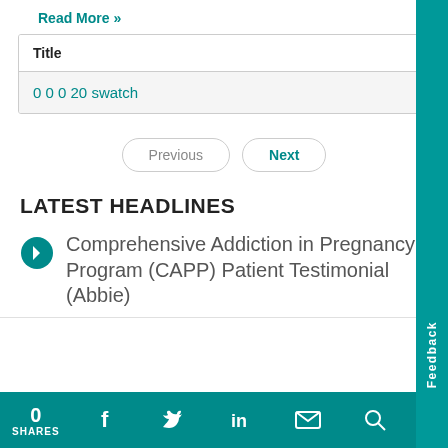Read More »
| Title |
| --- |
| 0 0 0 20 swatch |
Previous   Next
LATEST HEADLINES
Comprehensive Addiction in Pregnancy Program (CAPP) Patient Testimonial (Abbie)
0 SHARES   Feedback